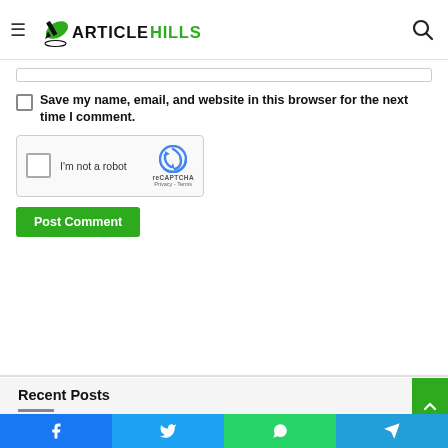ArticleHills
Save my name, email, and website in this browser for the next time I comment.
[Figure (other): reCAPTCHA widget with checkbox labeled I'm not a robot]
Post Comment
Recent Posts
[Figure (other): Social share bar with Facebook, Twitter, WhatsApp, and Telegram icons]